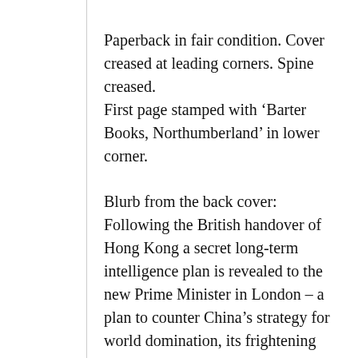Paperback in fair condition. Cover creased at leading corners. Spine creased.
First page stamped with ‘Barter Books, Northumberland’ in lower corner.

Blurb from the back cover: Following the British handover of Hong Kong a secret long-term intelligence plan is revealed to the new Prime Minister in London – a plan to counter China’s strategy for world domination, its frightening growth in economic and military might, and to